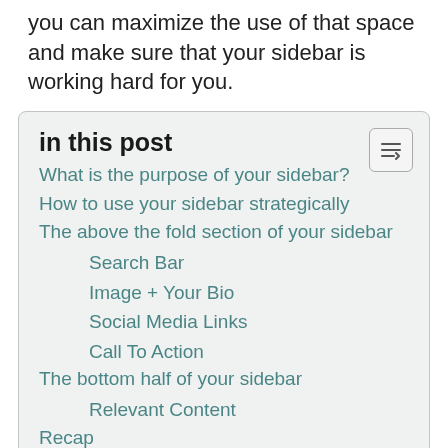you can maximize the use of that space and make sure that your sidebar is working hard for you.
in this post
What is the purpose of your sidebar?
How to use your sidebar strategically
The above the fold section of your sidebar
Search Bar
Image + Your Bio
Social Media Links
Call To Action
The bottom half of your sidebar
Relevant Content
Recap